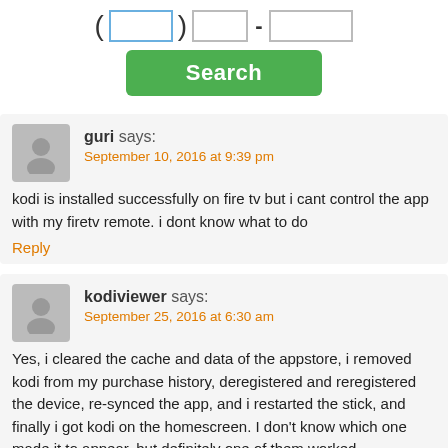[Figure (screenshot): Phone number input fields with a blue-outlined box, a plain box, a dash, and another plain box]
[Figure (screenshot): Green Search button]
guri says:
September 10, 2016 at 9:39 pm
kodi is installed successfully on fire tv but i cant control the app with my firetv remote. i dont know what to do
Reply
kodiviewer says:
September 25, 2016 at 6:30 am
Yes, i cleared the cache and data of the appstore, i removed kodi from my purchase history, deregistered and reregistered the device, re-synced the app, and i restarted the stick, and finally i got kodi on the homescreen. I don't know which one made it to appear, but definitely one of them worked.
Reply